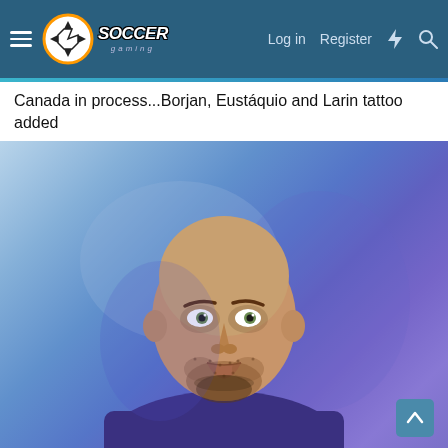Soccer Gaming — Navigation: Log in | Register
Canada in process...Borjan, Eustáquio and Larin tattoo added
[Figure (photo): Close-up digital render of a bald male soccer player (Borjan) with a beard and stubble, wearing a dark jersey, photographed against a blue-purple gradient background. The image is a realistic 3D render or digital illustration.]